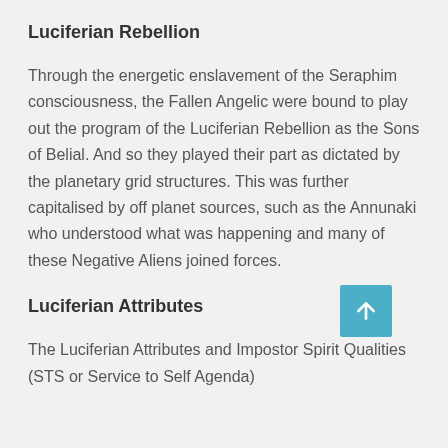Luciferian Rebellion
Through the energetic enslavement of the Seraphim consciousness, the Fallen Angelic were bound to play out the program of the Luciferian Rebellion as the Sons of Belial. And so they played their part as dictated by the planetary grid structures. This was further capitalised by off planet sources, such as the Annunaki who understood what was happening and many of these Negative Aliens joined forces.
Luciferian Attributes
The Luciferian Attributes and Impostor Spirit Qualities (STS or Service to Self Agenda)